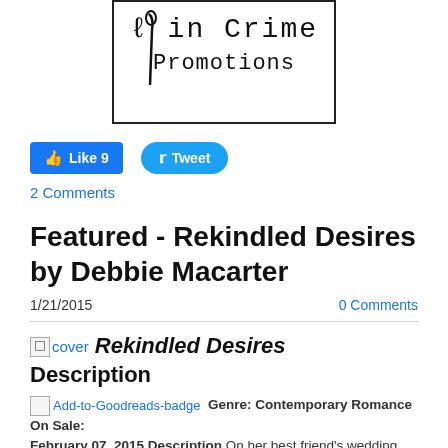[Figure (logo): Promotional logo image showing 'in Crime Promotions' text with a noose/rope illustration, black border on white background]
Like 9   Tweet
2 Comments
Featured - Rekindled Desires by Debbie Macarter
1/21/2015   0 Comments
cover Rekindled Desires Description
Add-to-Goodreads-badge  Genre: Contemporary Romance On Sale: February 07, 2015 Description On her best friend's wedding night, Becca